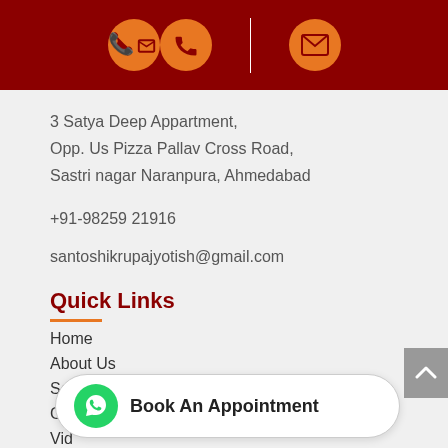[Figure (other): Dark red header bar with orange phone icon on left and orange email/envelope icon on right, separated by a white vertical divider line]
3 Satya Deep Appartment,
Opp. Us Pizza Pallav Cross Road,
Sastri nagar Naranpura, Ahmedabad
+91-98259 21916
santoshikrupajyotish@gmail.com
Quick Links
Home
About Us
Services
G...
Vid...
Inquir...
[Figure (other): WhatsApp Book An Appointment button with green WhatsApp icon circle and text 'Book An Appointment']